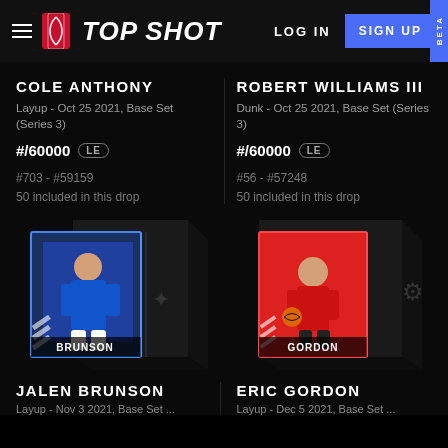NBA TOP SHOT | LOG IN | SIGN UP | BETA
COLE ANTHONY
Layup - Oct 25 2021, Base Set (Series 3)
#/60000 LE
#703 - #59159
50 included in this drop
ROBERT WILLIAMS III
Dunk - Oct 25 2021, Base Set (Series 3)
#/60000 LE
#56 - #57248
50 included in this drop
[Figure (photo): NBA Top Shot NFT card for Jalen Brunson (Dallas Mavericks) in 3D box presentation, with player image on blue uniform against dark background]
[Figure (photo): NBA Top Shot NFT card for Eric Gordon (Houston Rockets) in 3D box presentation, with player image on red court background]
JALEN BRUNSON
Layup - Nov 3 2021, Base Set ...
ERIC GORDON
Layup - Dec 5 2021, Base Set ...